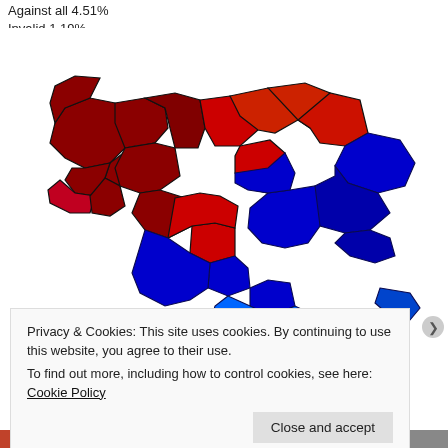Against all 4.51%
Invalid 1.19%
[Figure (map): Map of Ukraine showing regional voting results. Western and central regions shown in dark red and red (voting one way), eastern and southern regions shown in blue (voting the other way).]
Privacy & Cookies: This site uses cookies. By continuing to use this website, you agree to their use.
To find out more, including how to control cookies, see here: Cookie Policy
Close and accept